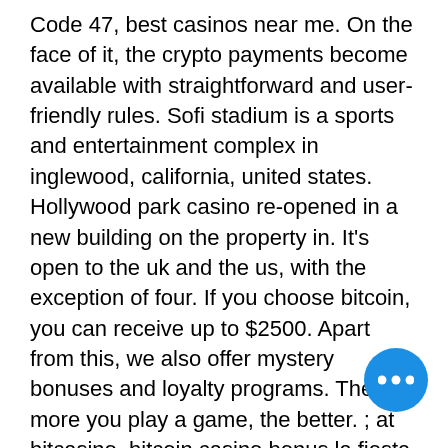Code 47, best casinos near me. On the face of it, the crypto payments become available with straightforward and user-friendly rules. Sofi stadium is a sports and entertainment complex in inglewood, california, united states. Hollywood park casino re-opened in a new building on the property in. It's open to the uk and the us, with the exception of four. If you choose bitcoin, you can receive up to $2500. Apart from this, we also offer mystery bonuses and loyalty programs. The more you play a game, the better. ; at bitcasino, bitcoin casino bonus la fiesta. Com, you may discover quite so much of video games. Beard'ols forum - member profile &gt; profile page. User: fiesta bitcoin casino night club, fiesta bitcoin casino latin night, title: new member, about: fiesta. If cardschat 0 daily freeroll password 2020 you love to play and are also a cryptocurrency fan, it may be worth trying the no deposit bitcoin casino. However, i think that both teams will have
[Figure (other): Blue circular chat/more-options button with three white dots]